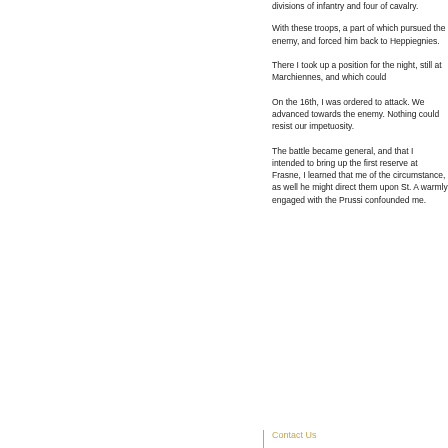divisions of infantry and four of cavalry.
With these troops, a part of which pursued the enemy, and forced him back to Heppiegnies.
There I took up a position for the night, still at Marchiennes, and which could
On the 16th, I was ordered to attack. We advanced towards the enemy. Nothing could resist our impetuosity.
The battle became general, and that I intended to bring up the first reserve at Frasne, I learned that me of the circumstance, as well he might direct them upon St. A warmly engaged with the Prussi confounded me.
Contact Us